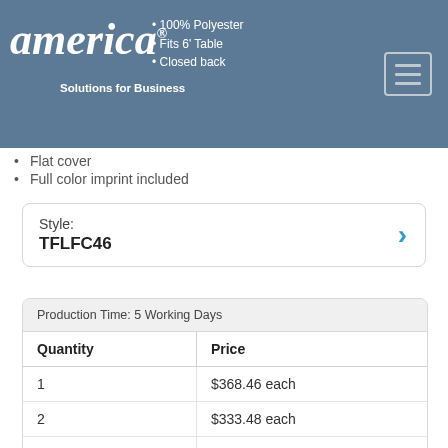[Figure (logo): American Solutions for Business logo in white on steel blue header background]
100% Polyester
Fits 6' Table
Closed back
Flat cover
Full color imprint included
Style: TFLFC46
| Quantity | Price |
| --- | --- |
| 1 | $368.46 each |
| 2 | $333.48 each |
| 6 | $311.32 each |
| 12 | $297.33 each |
Setup Charge